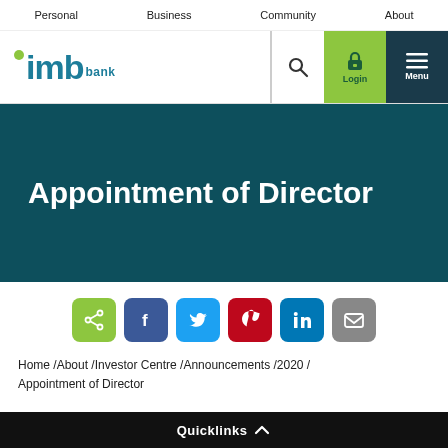Personal / Business / Community / About
[Figure (logo): IMB Bank logo with green dot, teal IMB letters, and 'bank' text]
Appointment of Director
[Figure (infographic): Social share buttons: share, Facebook, Twitter, Pinterest, LinkedIn, Email]
Home /About /Investor Centre /Announcements /2020 / Appointment of Director
Quicklinks